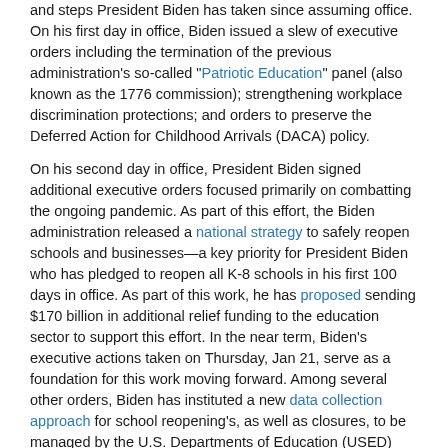and steps President Biden has taken since assuming office. On his first day in office, Biden issued a slew of executive orders including the termination of the previous administration's so-called "Patriotic Education" panel (also known as the 1776 commission); strengthening workplace discrimination protections; and orders to preserve the Deferred Action for Childhood Arrivals (DACA) policy.
On his second day in office, President Biden signed additional executive orders focused primarily on combatting the ongoing pandemic. As part of this effort, the Biden administration released a national strategy to safely reopen schools and businesses—a key priority for President Biden who has pledged to reopen all K-8 schools in his first 100 days in office. As part of this work, he has proposed sending $170 billion in additional relief funding to the education sector to support this effort. In the near term, Biden's executive actions taken on Thursday, Jan 21, serve as a foundation for this work moving forward. Among several other orders, Biden has instituted a new data collection approach for school reopening's, as well as closures, to be managed by the U.S. Departments of Education (USED) and Health and Human Services (HHS). In addition, the newly sworn in President signed an executive order intended to allow the Federal Emergency Management Agency (FEMA) to provide full reimbursements for the purchase of personal protective equipment such as masks.
Administration Update
Additional USED Appointments Announced
Earlier this month, President Biden announced his intent to formally